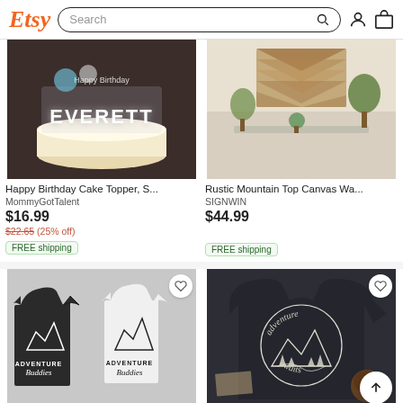Etsy Search
[Figure (screenshot): Etsy product listing - Happy Birthday Cake Topper with EVERETT name, dark background]
Happy Birthday Cake Topper, S...
MommyGotTalent
$16.99
$22.65 (25% off)
FREE shipping
[Figure (screenshot): Etsy product listing - Rustic Mountain Top Canvas Wall Art with wood and plant decor]
Rustic Mountain Top Canvas Wa...
SIGNWIN
$44.99
FREE shipping
[Figure (screenshot): Etsy product listing - Adventure Buddies t-shirts, black and white versions]
Adventure Buddies, Adventure...
[Figure (screenshot): Etsy product listing - Adventure Sweatshirt, dark navy with circular adventure awaits design]
Adventure Sweatshirt, Adventu...